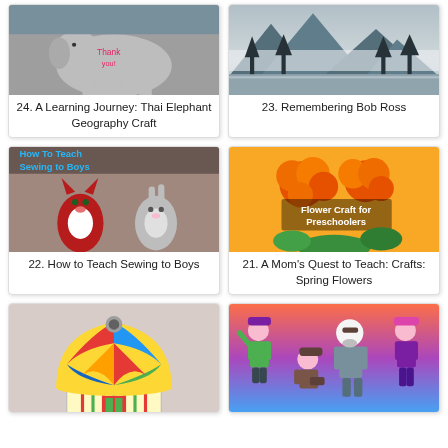[Figure (photo): Thai elephant craft – paper elephant figure with 'Thank you' text on its back]
24. A Learning Journey: Thai Elephant Geography Craft
[Figure (photo): Misty mountain landscape painting – trees and mountains reflected in water, reminiscent of Bob Ross style]
23. Remembering Bob Ross
[Figure (photo): How To Teach Sewing to Boys – stuffed animal fox and bunny toys on wooden surface]
22. How to Teach Sewing to Boys
[Figure (photo): Flower Craft for Preschoolers – orange flowers on yellow background craft]
21. A Mom's Quest to Teach: Crafts: Spring Flowers
[Figure (photo): Colorful dome-shaped craft – decorated with geometric patterns in red, blue, yellow, green]
[Figure (photo): Illustrated group of cartoon characters – four people in various outfits on gradient background]